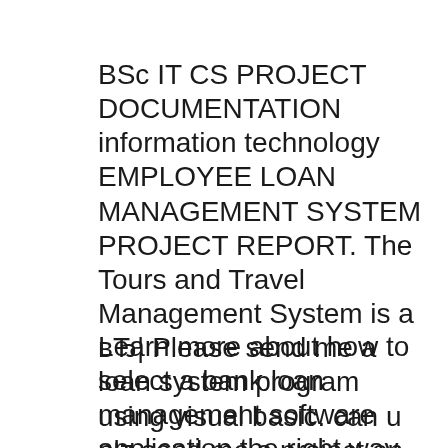BSc IT CS PROJECT DOCUMENTATION information technology EMPLOYEE LOAN MANAGEMENT SYSTEM PROJECT REPORT. The Tours and Travel Management System is a вЂ¦ Please send me a loan system program using visual basic. can u plz send me a project on loan management system in vb.net that includes gold,agriculture,education...
Learn more about how to select a bank loan management software application the right way. Download Project Documentation For Bank Loan Management System Pdf Download Project Documentation For Bank Loan